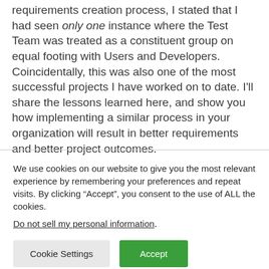requirements creation process, I stated that I had seen only one instance where the Test Team was treated as a constituent group on equal footing with Users and Developers. Coincidentally, this was also one of the most successful projects I have worked on to date. I'll share the lessons learned here, and show you how implementing a similar process in your organization will result in better requirements and better project outcomes.
We use cookies on our website to give you the most relevant experience by remembering your preferences and repeat visits. By clicking “Accept”, you consent to the use of ALL the cookies.
Do not sell my personal information.
Cookie Settings | Accept